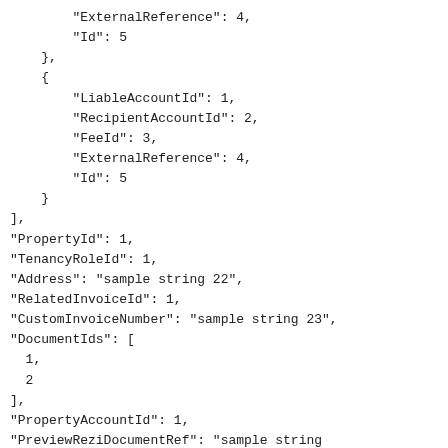"ExternalReference": 4,
    "Id": 5
},
{
    "LiableAccountId": 1,
    "RecipientAccountId": 2,
    "FeeId": 3,
    "ExternalReference": 4,
    "Id": 5
}
],
"PropertyId": 1,
"TenancyRoleId": 1,
"Address": "sample string 22",
"RelatedInvoiceId": 1,
"CustomInvoiceNumber": "sample string 23",
"DocumentIds": [
  1,
  2
],
"PropertyAccountId": 1,
"PreviewReziDocumentRef": "sample string
24"